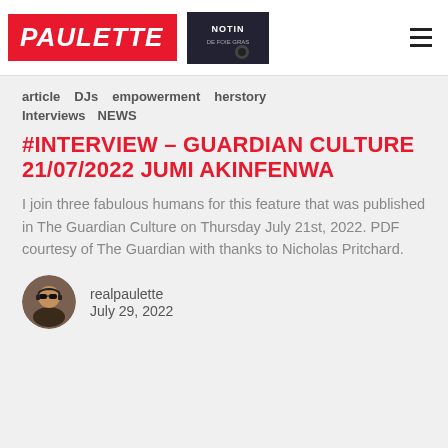PAULETTE
article  DJs  empowerment  herstory
Interviews  NEWS
#INTERVIEW – GUARDIAN CULTURE 21/07/2022 JUMI AKINFENWA
I join three fabulous humans for this feature that was published in The Guardian Culture on Thursday July 21st, 2022. PDF courtesy of The Guardian with thanks to Nicholas Pritchard.
realpaulette
July 29, 2022